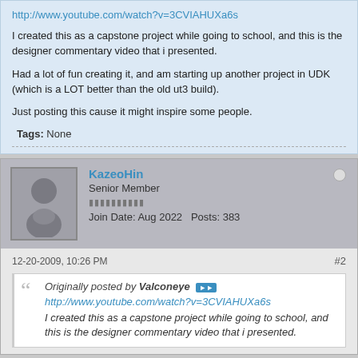http://www.youtube.com/watch?v=3CVIAHUXa6s
I created this as a capstone project while going to school, and this is the designer commentary video that i presented.
Had a lot of fun creating it, and am starting up another project in UDK (which is a LOT better than the old ut3 build).
Just posting this cause it might inspire some people.
Tags: None
KazeoHin
Senior Member
Join Date: Aug 2022  Posts: 383
12-20-2009, 10:26 PM
#2
Originally posted by Valconeye
http://www.youtube.com/watch?v=3CVIAHUXa6s
I created this as a capstone project while going to school, and this is the designer commentary video that i presented.